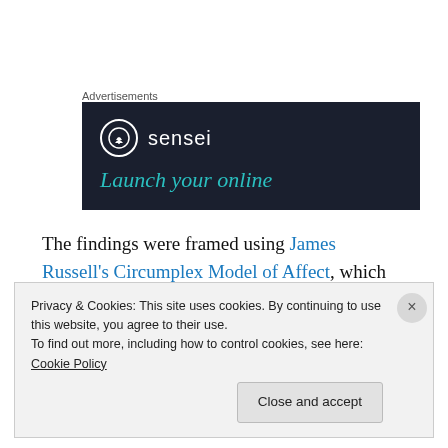[Figure (other): Sensei advertisement banner with dark navy background, Sensei logo (tree icon in circle) and text 'sensei', with teal italic text 'Launch your online' at bottom]
The findings were framed using James Russell's Circumplex Model of Affect, which places results on two -5 to +5 scales of arousal (energy) and valence (happiness).
Privacy & Cookies: This site uses cookies. By continuing to use this website, you agree to their use.
To find out more, including how to control cookies, see here: Cookie Policy